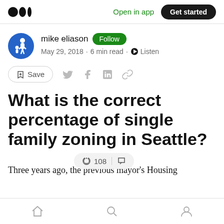Medium logo | Open in app | Get started
mike eliason · Follow · May 29, 2018 · 6 min read · Listen
Save (social share icons)
What is the correct percentage of single family zoning in Seattle?
👏 108 | 💬
Three years ago, the previous mayor's Housing
Home | Search | Profile